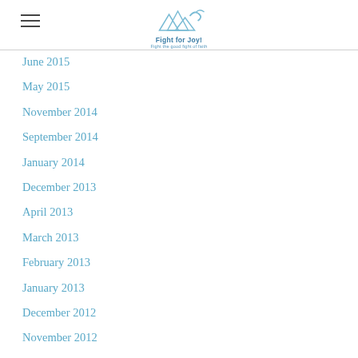Fight for Joy! Fight the good fight of faith
June 2015
May 2015
November 2014
September 2014
January 2014
December 2013
April 2013
March 2013
February 2013
January 2013
December 2012
November 2012
August 2012
May 2012
February 2012
January 2012
December 2011